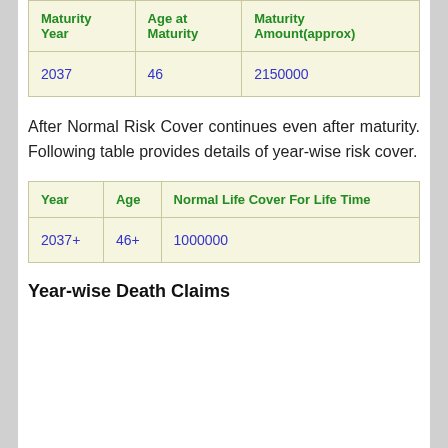| Maturity Year | Age at Maturity | Maturity Amount(approx) |
| --- | --- | --- |
| 2037 | 46 | 2150000 |
After Normal Risk Cover continues even after maturity. Following table provides details of year-wise risk cover.
| Year | Age | Normal Life Cover For Life Time |
| --- | --- | --- |
| 2037+ | 46+ | 1000000 |
Year-wise Death Claims